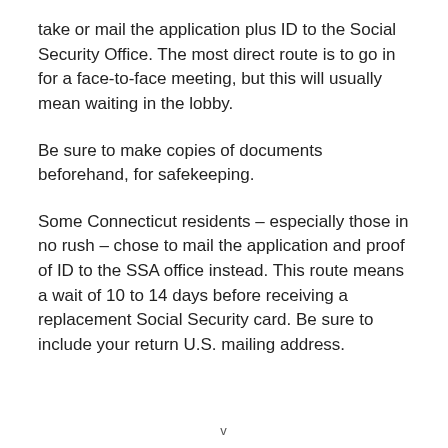take or mail the application plus ID to the Social Security Office. The most direct route is to go in for a face-to-face meeting, but this will usually mean waiting in the lobby.
Be sure to make copies of documents beforehand, for safekeeping.
Some Connecticut residents – especially those in no rush – chose to mail the application and proof of ID to the SSA office instead. This route means a wait of 10 to 14 days before receiving a replacement Social Security card. Be sure to include your return U.S. mailing address.
v